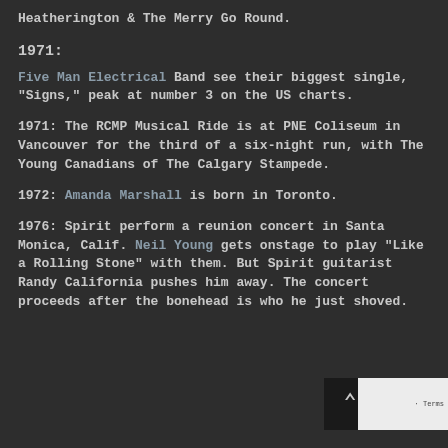Heatherington & The Merry Go Round.
1971:
Five Man Electrical Band see their biggest single, "Signs," peak at number 3 on the US charts.
1971: The RCMP Musical Ride is at PNE Coliseum in Vancouver for the third of a six-night run, with The Young Canadians of The Calgary Stampede.
1972: Amanda Marshall is born in Toronto.
1976: Spirit perform a reunion concert in Santa Monica, Calif. Neil Young gets onstage to play "Like a Rolling Stone" with them. But Spirit guitarist Randy California pushes him away. The concert proceeds after the bonehead is who he just shoved.